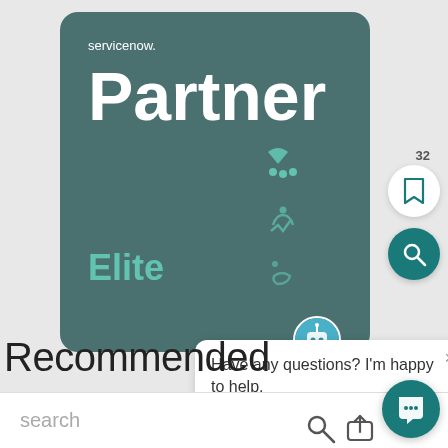[Figure (screenshot): ServiceNow Partner Elite badge card — dark teal rounded rectangle with 'servicenow.' logo text, large 'Partner' heading, 'Elite' label in teal, and decorative ServiceNow icons on right side]
32
[Figure (infographic): Bookmark icon button (white circle with bookmark outline) and search icon button (dark teal circle with magnifying glass)]
[Figure (infographic): Chat assistant avatar bubble with bot/robot icon]
Have any questions? I'm happy to help.
Recommended
search
[Figure (infographic): Chat open button (dark teal circle with speech bubble icon) and bottom navigation icons for search and upload]